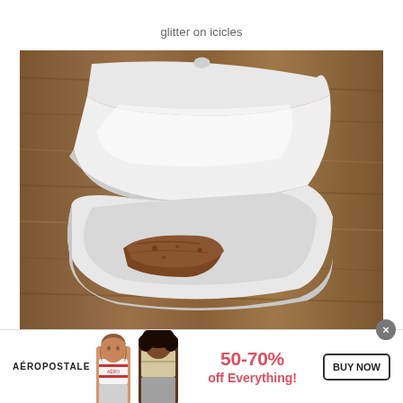glitter on icicles
[Figure (photo): Open white clamshell takeout container with a piece of food (brownie or meat) inside the lower compartment, placed on a wooden surface viewed from above at an angle.]
[Figure (infographic): Aeropostale advertisement banner showing two female models, text '50-70% off Everything!' in red/pink, and a 'BUY NOW' button.]